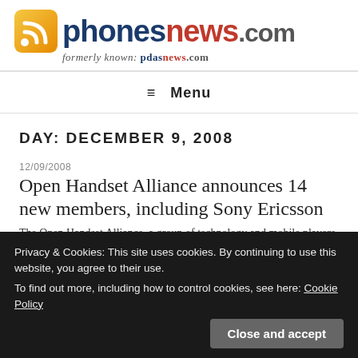[Figure (logo): phonesnews.com logo with RSS icon, formerly known as pdasnews.com]
≡ Menu
DAY: DECEMBER 9, 2008
12/09/2008
Open Handset Alliance announces 14 new members, including Sony Ericsson
The Open Handset Alliance, a group of technology and mobile players, is pleased to announce the membership of 14 additional companies. By joining the members of the Open Handset Alliance, the following
Privacy & Cookies: This site uses cookies. By continuing to use this website, you agree to their use.
To find out more, including how to control cookies, see here: Cookie Policy
Close and accept